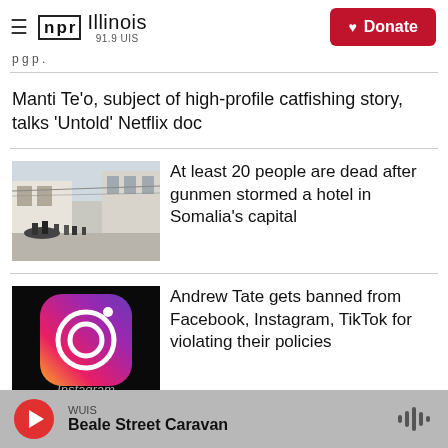NPR Illinois 91.9 UIS | Donate
p g p .
Manti Te'o, subject of high-profile catfishing story, talks 'Untold' Netflix doc
[Figure (photo): People in a street scene, military or police personnel gathered outside a building]
At least 20 people are dead after gunmen stormed a hotel in Somalia's capital
[Figure (photo): Instagram app logo on a dark background with the word Instagram visible]
Andrew Tate gets banned from Facebook, Instagram, TikTok for violating their policies
WUIS Beale Street Caravan